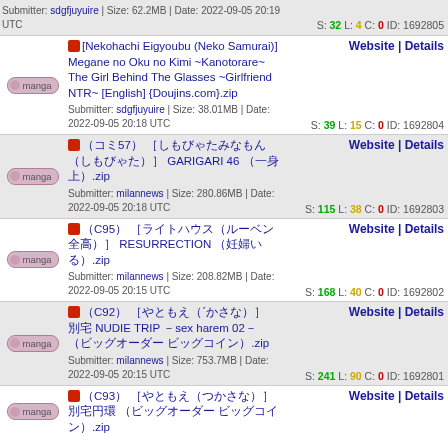Submitter: sdgfjuyuire | Size: 62.2MB | Date: 2022-09-05 20:19 UTC  S: 32  L: 4  C: 0  ID: 1692805
[Nekohachi Eigyoubu (Neko Samurai)] Megane no Oku no Kimi ~Kanotorare~ The Girl Behind The Glasses ~Girlfriend NTR~ [English] {Doujins.com}.zip  Website | Details  Submitter: sdgfjuyuire | Size: 38.01MB | Date: 2022-09-05 20:18 UTC  S: 39  L: 15  C: 0  ID: 1692804
(C57) [... (...)] GARIGARI 46 (...).zip  Website | Details  Submitter: milannews | Size: 280.86MB | Date: 2022-09-05 20:18 UTC  S: 115  L: 38  C: 0  ID: 1692803
(C95) [...(...)] RESURRECTION (...).zip  Website | Details  Submitter: milannews | Size: 208.82MB | Date: 2022-09-05 20:15 UTC  S: 168  L: 40  C: 0  ID: 1692802
(C92) [...(...)] ... NUDIE TRIP -sex harem 02- (...).zip  Website | Details  Submitter: milannews | Size: 753.7MB | Date: 2022-09-05 20:15 UTC  S: 241  L: 90  C: 0  ID: 1692801
(C93) [...(...)] ... (...).zip  Website | Details